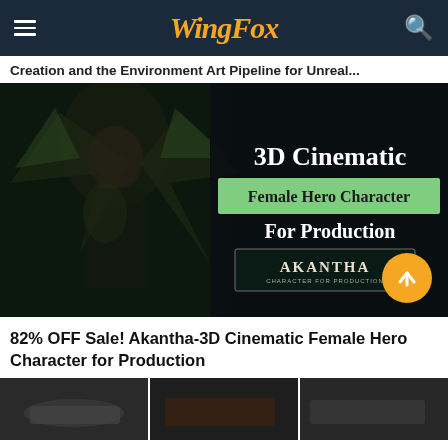WingFox
Creation and the Environment Art Pipeline for Unreal...
[Figure (screenshot): 3D Cinematic Female Hero Character for Production course thumbnail showing a female character in dark armor with horned helmet and text overlay: '3D Cinematic', 'Female Hero Character', 'For Production', 'AKANTHA']
82% OFF Sale! Akantha-3D Cinematic Female Hero Character for Production
[Figure (screenshot): Bottom row of product images showing dark 3D modeled objects/assets]